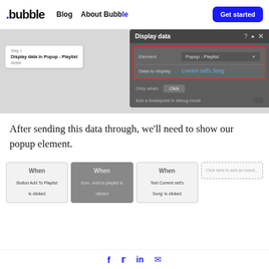.bubble  Blog  About Bubble  Get started
[Figure (screenshot): Bubble no-code platform screenshot showing 'Display data' panel with Element set to 'Popup - Playlist' and 'Data to display' set to 'Current cell's Song', highlighted in red border. Also shows workflow step 'Display data in Popup - Playlist'.]
After sending this data through, we'll need to show our popup element.
[Figure (screenshot): Bubble workflow editor showing three event cards: 'When Button Add To Playlist is clicked', 'When Icon - Add to playlist is clicked', 'When Text Current cell's Song is clicked', and a dashed 'Click here to add an event...' card.]
f  Twitter  in  mail icon